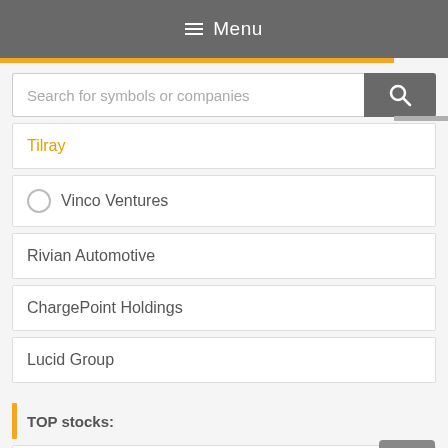Menu
Search for symbols or companies
Tilray
Vinco Ventures
Rivian Automotive
ChargePoint Holdings
Lucid Group
TOP stocks:
Microsoft
Apple